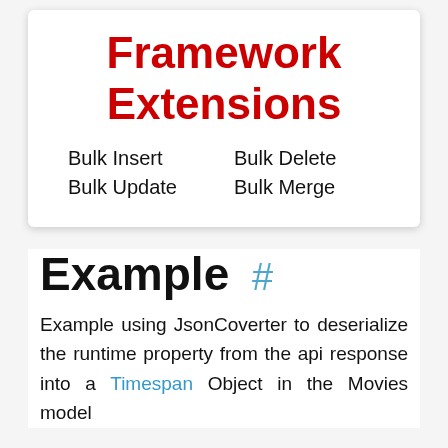Framework Extensions
Bulk Insert    Bulk Delete
Bulk Update    Bulk Merge
Example #
Example using JsonCoverter to deserialize the runtime property from the api response into a Timespan Object in the Movies model
JSO N/